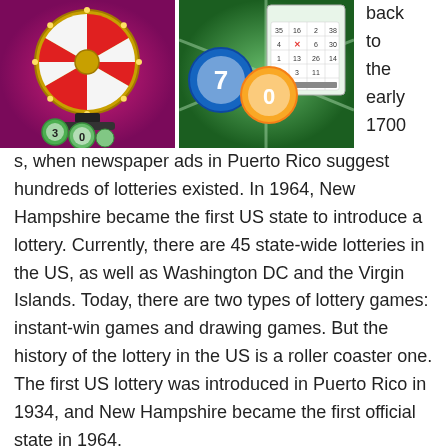[Figure (illustration): Spinning wheel of fortune with lottery balls numbered 3 and 0, on a purple/pink background]
[Figure (illustration): Lottery tickets and numbered balls including 7 and 0, on a green background]
back to the early 1700s, when newspaper ads in Puerto Rico suggest hundreds of lotteries existed. In 1964, New Hampshire became the first US state to introduce a lottery. Currently, there are 45 state-wide lotteries in the US, as well as Washington DC and the Virgin Islands. Today, there are two types of lottery games: instant-win games and drawing games. But the history of the lottery in the US is a roller coaster one. The first US lottery was introduced in Puerto Rico in 1934, and New Hampshire became the first official state in 1964.
In addition to bringing the games to players, online lotto sites take care of tax payments for winners of prizes under $600. Those who win prizes of $5,000 or more receive W2-G forms. In addition, the